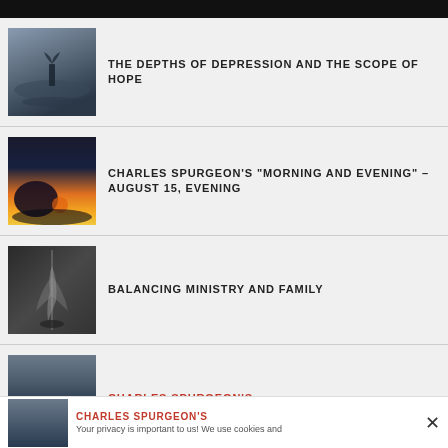THE DEPTHS OF DEPRESSION AND THE SCOPE OF HOPE
CHARLES SPURGEON'S “MORNING AND EVENING” – AUGUST 15, EVENING
BALANCING MINISTRY AND FAMILY
CHARLES SPURGEON'S
Your privacy is important to us! We use cookies and